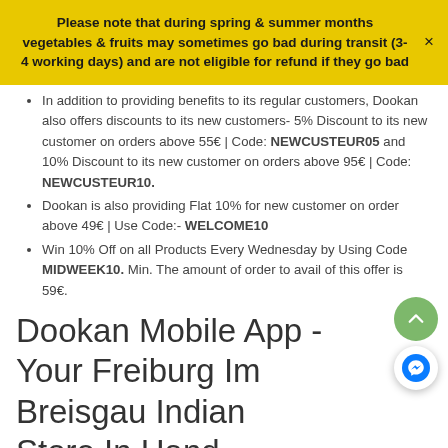Please note that during spring & summer months vegetables & fruits may sometimes go bad during transit (3-4 working days) and are not eligible for refund if they go bad
In addition to providing benefits to its regular customers, Dookan also offers discounts to its new customers- 5% Discount to its new customer on orders above 55€ | Code: NEWCUSTEUR05 and 10% Discount to its new customer on orders above 95€ | Code: NEWCUSTEUR10.
Dookan is also providing Flat 10% for new customer on order above 49€ | Use Code:- WELCOME10
Win 10% Off on all Products Every Wednesday by Using Code MIDWEEK10. Min. The amount of order to avail of this offer is 59€.
Dookan Mobile App - Your Freiburg Im Breisgau Indian Store In Hand